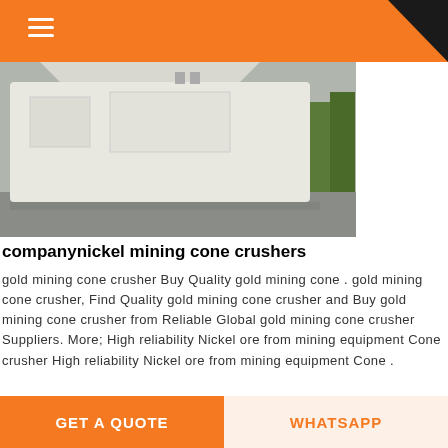[Figure (photo): White industrial cone crusher machine photographed outdoors in a yard with trees in background]
companynickel mining cone crushers
gold mining cone crusher Buy Quality gold mining cone . gold mining cone crusher, Find Quality gold mining cone crusher and Buy gold mining cone crusher from Reliable Global gold mining cone crusher Suppliers. More; High reliability Nickel ore from mining equipment Cone crusher High reliability Nickel ore from mining equipment Cone .
[Figure (photo): Outdoor landscape/field scene partially visible at bottom of page]
GET A QUOTE   WHATSAPP